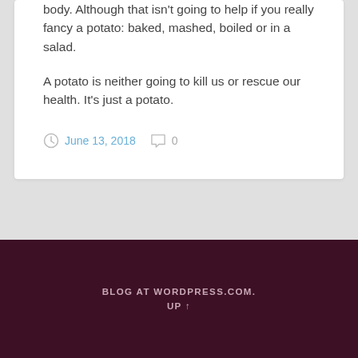body. Although that isn't going to help if you really fancy a potato: baked, mashed, boiled or in a salad.
A potato is neither going to kill us or rescue our health. It's just a potato.
June 13, 2018   0
BLOG AT WORDPRESS.COM. UP ↑